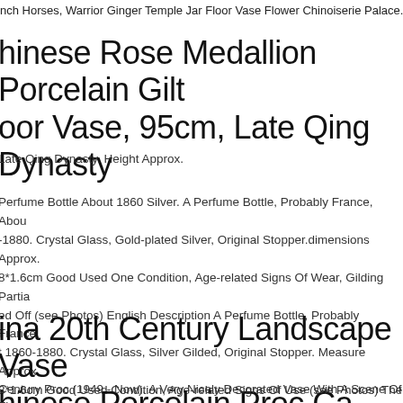nch Horses, Warrior Ginger Temple Jar Floor Vase Flower Chinoiserie Palace...
hinese Rose Medallion Porcelain Gilt oor Vase, 95cm, Late Qing Dynasty
Late Qing Dynasty. Height Approx.
Perfume Bottle About 1860 Silver. A Perfume Bottle, Probably France, About 1880. Crystal Glass, Gold-plated Silver, Original Stopper.dimensions Approx. 8*1.6cm Good Used One Condition, Age-related Signs Of Wear, Gilding Partially ed Off (see Photos) English Description A Perfume Bottle, Probably France, t 1860-1880. Crystal Glass, Silver Gilded, Original Stopper. Measure Approx. 8*1.6cm Good Used Condition, Age-related Signs Of Use (see Photos) The os Are Part Of The Description.
ina 20th Century Landscape Vase hinese Porcelain Proc Ca 1990-2000[:z.
Century Proc (1949 - Now). A Very Nicely Decorated Vase With A Scene Of Flo...